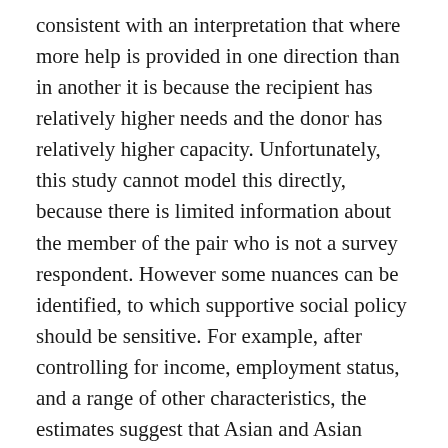consistent with an interpretation that where more help is provided in one direction than in another it is because the recipient has relatively higher needs and the donor has relatively higher capacity. Unfortunately, this study cannot model this directly, because there is limited information about the member of the pair who is not a survey respondent. However some nuances can be identified, to which supportive social policy should be sensitive. For example, after controlling for income, employment status, and a range of other characteristics, the estimates suggest that Asian and Asian British offspring are much more likely than other ethnic groups to be providing help to their parents, and are somewhat less likely than other groups to be receiving help from their parents. Conversely, offspring